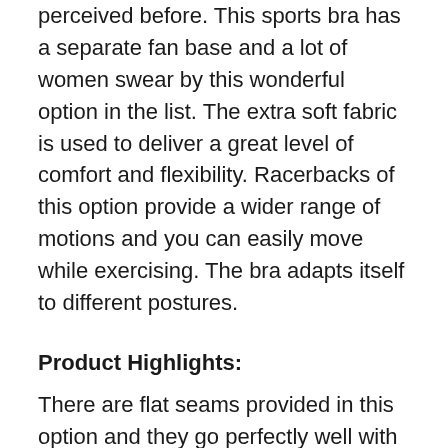perceived before. This sports bra has a separate fan base and a lot of women swear by this wonderful option in the list. The extra soft fabric is used to deliver a great level of comfort and flexibility. Racerbacks of this option provide a wider range of motions and you can easily move while exercising. The bra adapts itself to different postures.
Product Highlights:
There are flat seams provided in this option and they go perfectly well with your skin. No extra troubles or discomfort are experienced because of light seams in the bra. This bra is specifically designed for sports activities that include cardio,